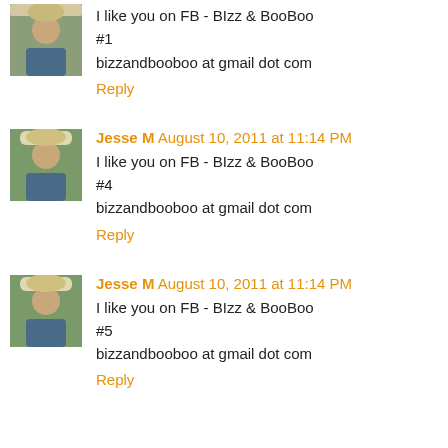I like you on FB - BIzz & BooBoo
#1
bizzandbooboo at gmail dot com
Reply
Jesse M  August 10, 2011 at 11:14 PM
I like you on FB - BIzz & BooBoo
#4
bizzandbooboo at gmail dot com
Reply
Jesse M  August 10, 2011 at 11:14 PM
I like you on FB - BIzz & BooBoo
#5
bizzandbooboo at gmail dot com
Reply